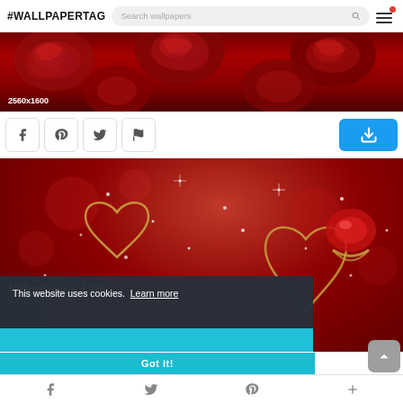#WALLPAPERTAG  Search wallpapers
[Figure (photo): Red roses wallpaper banner image with text '2560x1600']
2560x1600
[Figure (infographic): Social share buttons: Facebook, Pinterest, Twitter, Flag/Report, and a blue download button]
[Figure (photo): Valentine's Day themed wallpaper with red bokeh background, golden heart outlines, sparkles, and cursive text reading 'Valentine's Day']
This website uses cookies.  Learn more
Got it!
Facebook  Twitter  Pinterest  +